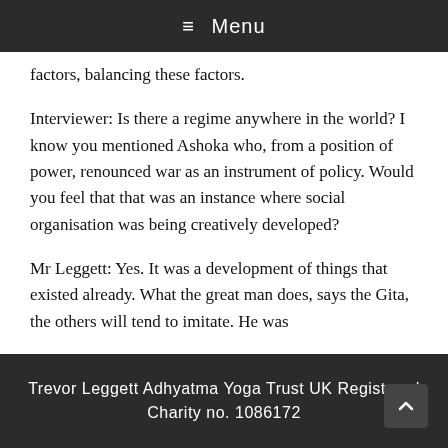≡ Menu
factors, balancing these factors.
Interviewer: Is there a regime anywhere in the world? I know you mentioned Ashoka who, from a position of power, renounced war as an instrument of policy. Would you feel that that was an instance where social organisation was being creatively developed?
Mr Leggett: Yes. It was a development of things that existed already. What the great man does, says the Gita, the others will tend to imitate. He was
Trevor Leggett Adhyatma Yoga Trust UK Registered Charity no. 1086172